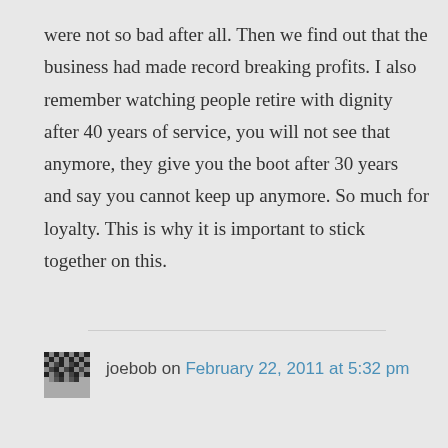were not so bad after all. Then we find out that the business had made record breaking profits. I also remember watching people retire with dignity after 40 years of service, you will not see that anymore, they give you the boot after 30 years and say you cannot keep up anymore. So much for loyalty. This is why it is important to stick together on this.
joebob on February 22, 2011 at 5:32 pm